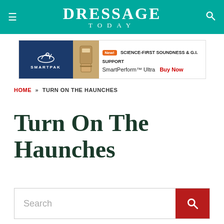DRESSAGE TODAY
[Figure (illustration): SmartPak advertisement banner: blue left panel with horse logo and SmartPak text, product image in center, orange New badge, headline SCIENCE-FIRST SOUNDNESS & G.I. SUPPORT, SmartPerform Ultra, Buy Now in red]
HOME » TURN ON THE HAUNCHES
Turn On The Haunches
Search